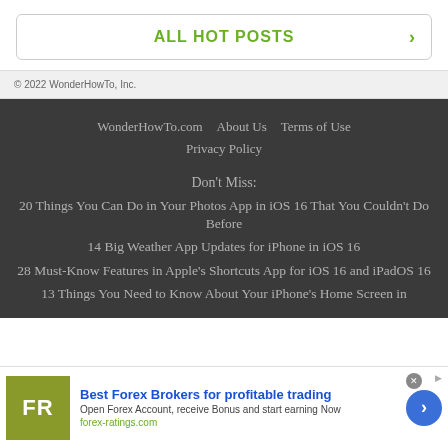ALL HOT POSTS
© 2022 WonderHowTo, Inc.
WonderHowTo.com   About Us   Terms of Use
Privacy Policy
Don't Miss:
20 Things You Can Do in Your Photos App in iOS 16 That You Couldn't Do Before
14 Big Weather App Updates for iPhone in iOS 16
28 Must-Know Features in Apple's Shortcuts App for iOS 16 and iPadOS 16
13 Things You Need to Know About Your iPhone's Home Screen in
[Figure (infographic): Advertisement banner for Best Forex Brokers for profitable trading on forex-ratings.com, with FR logo, description text, and arrow button]